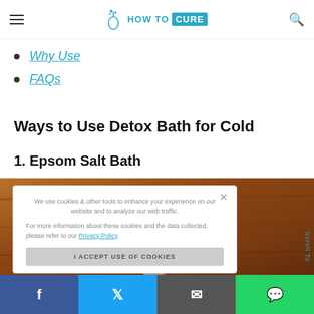HOW TO CURE
Why Use
FAQs
Ways to Use Detox Bath for Cold
1. Epsom Salt Bath
[Figure (photo): Image of a wooden bath background with epsom salt, partially obscured by cookie consent overlay]
We use cookies & other tools to enhance your experience on our website and to analyze our web traffic.

For more information about these cookies and the data collected, please refer to our Privacy Policy.
I ACCEPT USE OF COOKIES
Scroll To
Facebook | Twitter | Email | WhatsApp